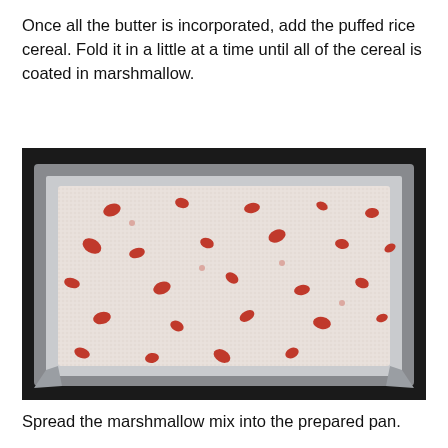Once all the butter is incorporated, add the puffed rice cereal. Fold it in a little at a time until all of the cereal is coated in marshmallow.
[Figure (photo): Overhead view of a foil-lined rectangular baking pan filled with a puffed rice marshmallow mixture topped with red dried strawberry pieces, photographed against a dark background.]
Spread the marshmallow mix into the prepared pan.